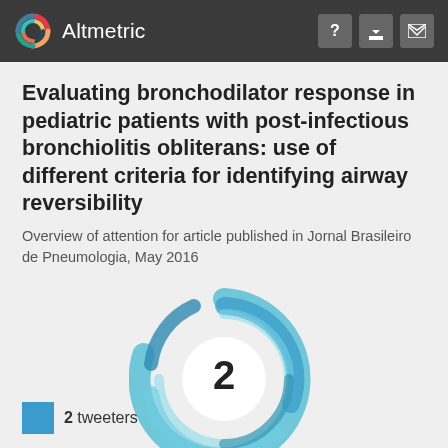Altmetric
Evaluating bronchodilator response in pediatric patients with post-infectious bronchiolitis obliterans: use of different criteria for identifying airway reversibility
Overview of attention for article published in Jornal Brasileiro de Pneumologia, May 2016
[Figure (other): Altmetric donut score badge showing score of 2, rendered as overlapping blue teal spiral rings with white center circle containing the number 2]
2 tweeters